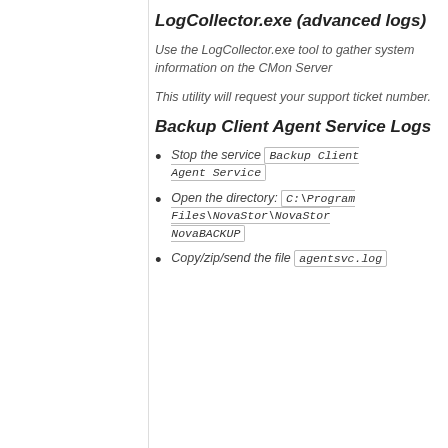LogCollector.exe (advanced logs)
Use the LogCollector.exe tool to gather system information on the CMon Server
This utility will request your support ticket number.
Backup Client Agent Service Logs
Stop the service Backup Client Agent Service
Open the directory: C:\Program Files\NovaStor\NovaStor NovaBACKUP
Copy/zip/send the file agentsvc.log